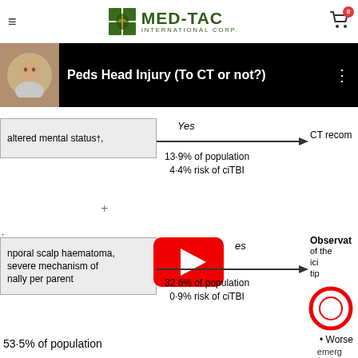MED-TAC INTERNATIONAL CORP.
[Figure (screenshot): YouTube video thumbnail showing 'Peds Head Injury (To CT or not?)' with a doctor's photo and video controls]
[Figure (flowchart): Medical decision flowchart for pediatric head injury showing two pathways: altered mental status with Yes arrow to CT recommended (13-9% of population, 4-4% risk of ciTBI), and non-poral scalp haematoma/severe mechanism with Yes arrow to Observation (32-6% of population, 0-9% risk of ciTBI). Bottom text shows 53-5% of population. YouTube play button and chat bubble overlaid.]